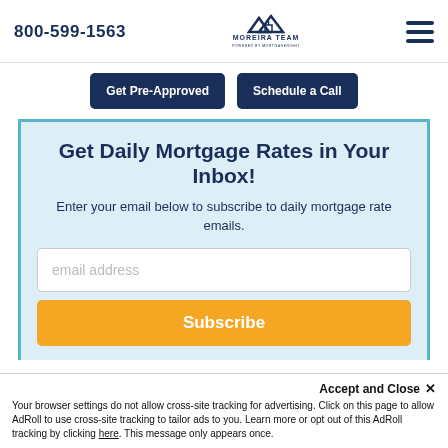800-599-1563
[Figure (logo): Moreira Team logo with house/mountain icon and text 'MOREIRA TEAM POWERED BY MORTGAGERIGHT']
Get Pre-Approved
Schedule a Call
Get Daily Mortgage Rates in Your Inbox!
Enter your email below to subscribe to daily mortgage rate emails.
email address
Subscribe
Accept and Close ✕
Your browser settings do not allow cross-site tracking for advertising. Click on this page to allow AdRoll to use cross-site tracking to tailor ads to you. Learn more or opt out of this AdRoll tracking by clicking here. This message only appears once.